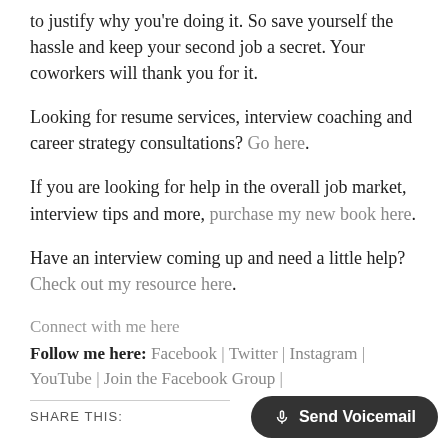to justify why you're doing it. So save yourself the hassle and keep your second job a secret. Your coworkers will thank you for it.
Looking for resume services, interview coaching and career strategy consultations? Go here.
If you are looking for help in the overall job market, interview tips and more, purchase my new book here.
Have an interview coming up and need a little help? Check out my resource here.
Connect with me here
Follow me here: Facebook | Twitter | Instagram | YouTube | Join the Facebook Group |
SHARE THIS: